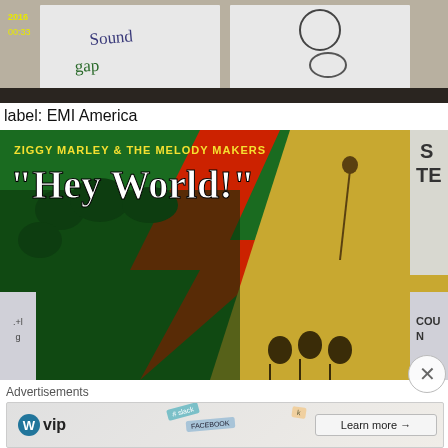[Figure (photo): Photo of handwritten text on paper showing 'sound' and 'gap' with circles, with yellow timestamp '2016 00:33' in top left corner]
label: EMI America
[Figure (photo): Photo of Ziggy Marley & The Melody Makers 'Hey World!' album cover, showing green background with red lightning bolt, yellow/tan right side with figures, crowd silhouette]
Advertisements
[Figure (screenshot): Advertisement banner showing WordPress VIP logo with 'Learn more →' button and social media tags (slack, FACEBOOK)]